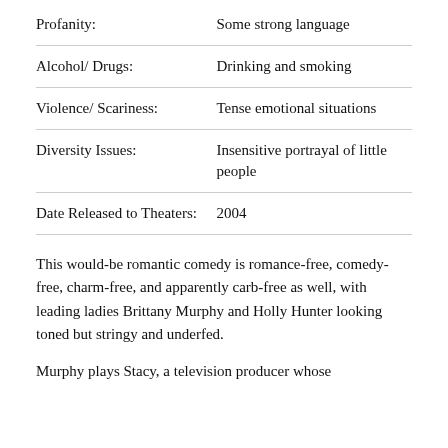| Category | Description |
| --- | --- |
| Profanity: | Some strong language |
| Alcohol/ Drugs: | Drinking and smoking |
| Violence/ Scariness: | Tense emotional situations |
| Diversity Issues: | Insensitive portrayal of little people |
| Date Released to Theaters: | 2004 |
This would-be romantic comedy is romance-free, comedy-free, charm-free, and apparently carb-free as well, with leading ladies Brittany Murphy and Holly Hunter looking toned but stringy and underfed.
Murphy plays Stacy, a television producer whose